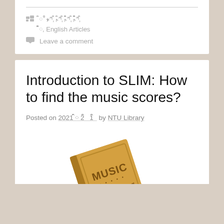ྀི་+ྀིཀྵ, ྀིཀྵྀི, ྀིཀྵྀིྀི, ྀིཀྵྀིྀིྀི, ྀི ྀིྀིྀིྀི, English Articles
Leave a comment
Introduction to SLIM: How to find the music scores?
Posted on 2021 ྀི 2 ྀི 1 ྀི by NTU Library
[Figure (illustration): Illustration of a brown music score book tilted at an angle, with the word MUSIC on the cover and musical staff lines at the bottom.]